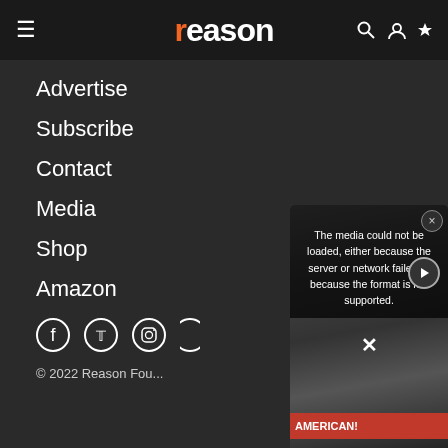reason
Advertise
Subscribe
Contact
Media
Shop
Amazon
[Figure (screenshot): Social media icons: Facebook, Twitter, Instagram, and one more]
[Figure (screenshot): Video player overlay showing error: 'The media could not be loaded, either because the server or network failed or because the format is not supported.' with a close X button and background image of protest signs including AMERICAN!]
© 2022 Reason Fou...